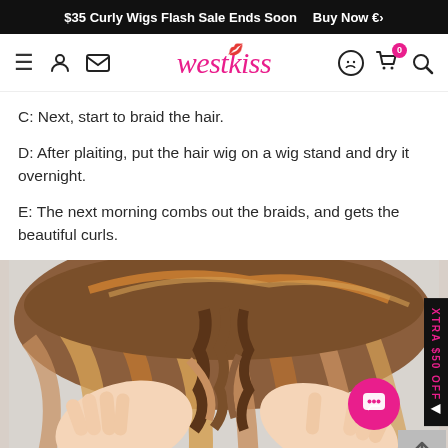$35 Curly Wigs Flash Sale Ends Soon  Buy Now 🛒
[Figure (screenshot): WestKiss website navigation bar with hamburger menu, user icon, message icon, logo 'westhiss', WhatsApp icon, cart icon with badge '0', and search icon]
C: Next, start to braid the hair.
D: After plaiting, put the hair wig on a wig stand and dry it overnight.
E: The next morning combs out the braids, and gets the beautiful curls.
[Figure (photo): Hands braiding long straight brown/blonde hair on a person's head, shown against a light grey background]